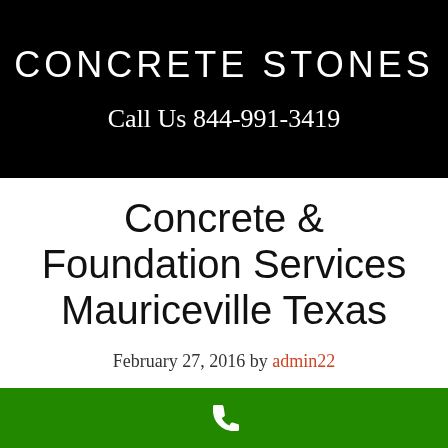CONCRETE STONES
Call Us 844-991-3419
Concrete & Foundation Services Mauriceville Texas
February 27, 2016 by admin22
[Figure (illustration): White phone handset icon on green footer bar]